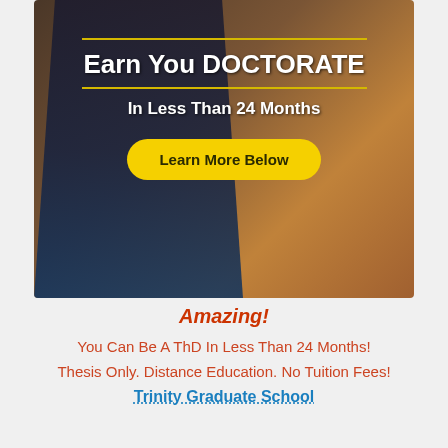[Figure (illustration): Advertisement banner image showing a man in a suit standing against a wooden wall background. Text overlay reads 'Earn You DOCTORATE' and 'In Less Than 24 Months' with a yellow 'Learn More Below' button.]
Amazing!
You Can Be A ThD In Less Than 24 Months!
Thesis Only. Distance Education. No Tuition Fees!
Trinity Graduate School